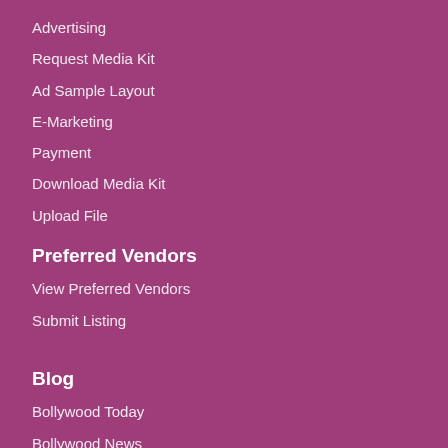Advertising
Request Media Kit
Ad Sample Layout
E-Marketing
Payment
Download Media Kit
Upload File
Preferred Vendors
View Preferred Vendors
Submit Listing
Blog
Bollywood Today
Bollywood News
Community News
Cricket
Bollywood TV
Health & Fitness
Incredible Indians